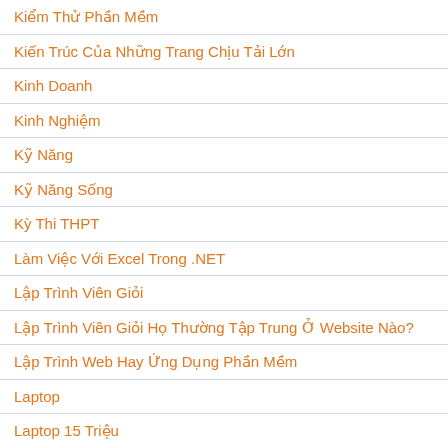Kiểm Thử Phần Mềm
Kiến Trúc Của Những Trang Chịu Tải Lớn
Kinh Doanh
Kinh Nghiệm
Kỹ Năng
Kỹ Năng Sống
Kỳ Thi THPT
Làm Việc Với Excel Trong .NET
Lập Trình Viên Giỏi
Lập Trình Viên Giỏi Họ Thường Tập Trung Ở Website Nào?
Lập Trình Web Hay Ứng Dụng Phần Mềm
Laptop
Laptop 15 Triệu
Laptop 20-30 Triệu
Laptop Acer